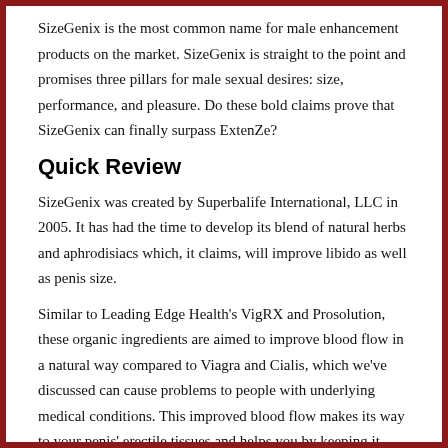SizeGenix is the most common name for male enhancement products on the market. SizeGenix is straight to the point and promises three pillars for male sexual desires: size, performance, and pleasure. Do these bold claims prove that SizeGenix can finally surpass ExtenZe?
Quick Review
SizeGenix was created by Superbalife International, LLC in 2005. It has had the time to develop its blend of natural herbs and aphrodisiacs which, it claims, will improve libido as well as penis size.
Similar to Leading Edge Health's VigRX and Prosolution, these organic ingredients are aimed to improve blood flow in a natural way compared to Viagra and Cialis, which we've discussed can cause problems to people with underlying medical conditions. This improved blood flow makes its way to your penis' erectile tissues and helps you by keeping it